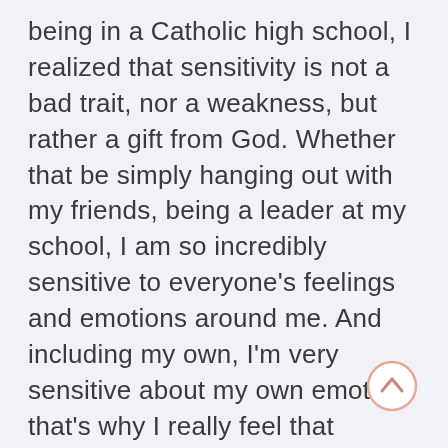being in a Catholic high school, I realized that sensitivity is not a bad trait, nor a weakness, but rather a gift from God. Whether that be simply hanging out with my friends, being a leader at my school, I am so incredibly sensitive to everyone's feelings and emotions around me. And including my own, I'm very sensitive about my own emotion that's why I really feel that journaling really grounds me a lot. And I always viewed myself as like a people pleaser, in the sense that I simply want to make sure that people or everyone around me, they feel valued, they feel respected and content with themselves, and that's really where I see myself flourish through my
[Figure (other): A circular scroll-to-top button with an upward chevron icon, with a peach/salmon colored border]